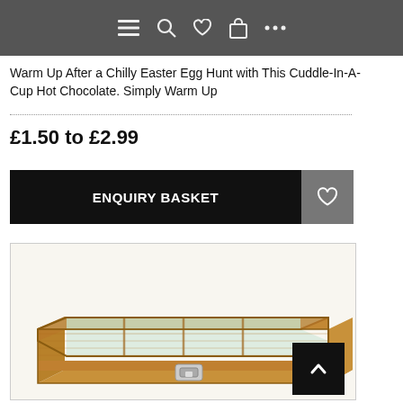Navigation bar with menu, search, heart/wishlist, basket, and more icons
Warm Up After a Chilly Easter Egg Hunt with This Cuddle-In-A-Cup Hot Chocolate. Simply Warm Up
£1.50 to £2.99
ENQUIRY BASKET
[Figure (photo): Wooden bamboo tea/storage box with glass lid, five compartments, and metal latch clasp]